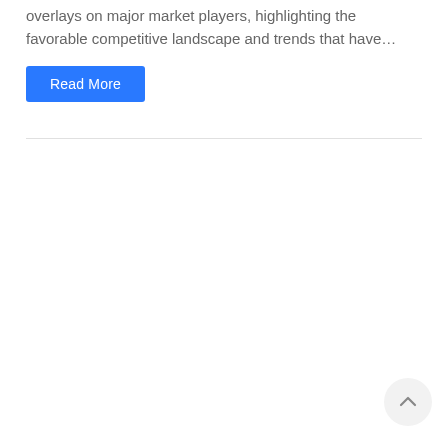overlays on major market players, highlighting the favorable competitive landscape and trends that have…
Read More